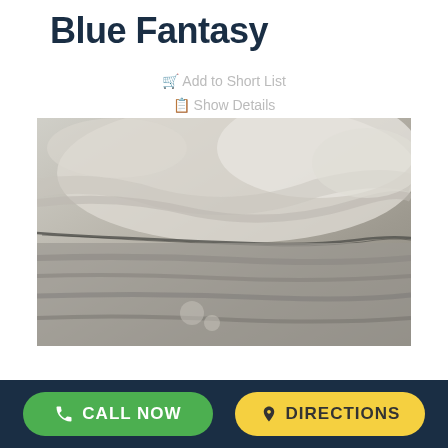Blue Fantasy
🛒 Add to Short List
📋 Show Details
[Figure (photo): Close-up photo of Blue Fantasy stone/marble surface showing grey and white layered veining texture with a diagonal crack running across the surface.]
CALL NOW
DIRECTIONS